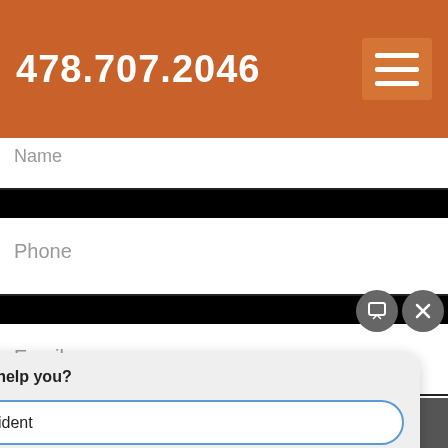478.707.2046
Name
Phone
Email
How Can I Help?
How can I help you?
Car Accident
Workers' Compensation
Nursing Home
Call Now   Text Us